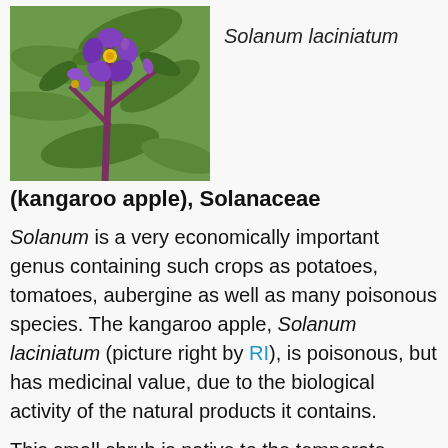[Figure (photo): Photo of Solanum laciniatum (kangaroo apple) plant with purple flowers and green leaves on a reddish-purple stem, taken outdoors.]
Solanum laciniatum
(kangaroo apple), Solanaceae
Solanum is a very economically important genus containing such crops as potatoes, tomatoes, aubergine as well as many poisonous species. The kangaroo apple, Solanum laciniatum (picture right by RI), is poisonous, but has medicinal value, due to the biological activity of the natural products it contains.
This small shrub is native to the temperate regions of New South Wales, Australian Capital Territory, Victoria, South Australia, Tasmania and New Zealand and is often used as a fast growing